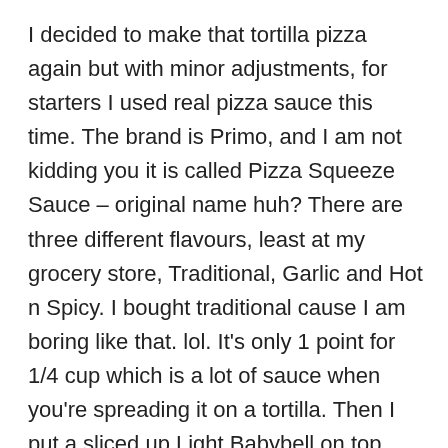I decided to make that tortilla pizza again but with minor adjustments, for starters I used real pizza sauce this time. The brand is Primo, and I am not kidding you it is called Pizza Squeeze Sauce – original name huh? There are three different flavours, least at my grocery store, Traditional, Garlic and Hot n Spicy. I bought traditional cause I am boring like that. lol. It's only 1 point for 1/4 cup which is a lot of sauce when you're spreading it on a tortilla. Then I put a sliced up Light Babybell on top, some orange pepper, onion, sliced mushroom and grilled chicken. When it was pretty much done in the oven I put a cheese slice on top (torn in to little pieces), I should have just put another babybell on the stupid thing but I didn't, shrug. It was good, way more filling then the last one I made – probably cause of all the veggies I put on it…and since that was the point of all the veggies I am glad it